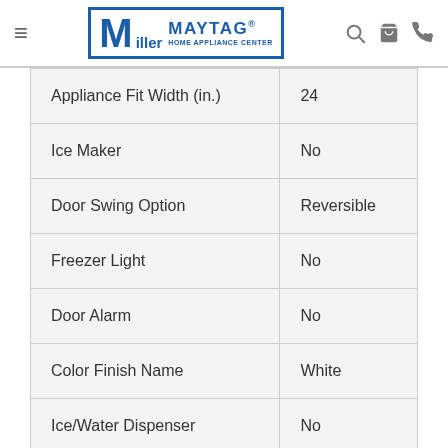Miller Maytag Home Appliance Center
| Feature | Value |
| --- | --- |
| Appliance Fit Width (in.) | 24 |
| Ice Maker | No |
| Door Swing Option | Reversible |
| Freezer Light | No |
| Door Alarm | No |
| Color Finish Name | White |
| Ice/Water Dispenser | No |